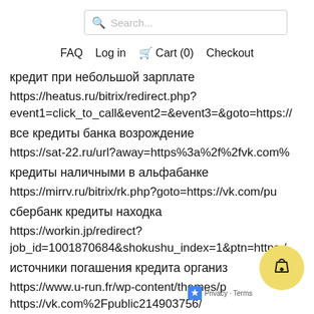Search...
FAQ  Log in  Cart (0)  Checkout
кредит при небольшой зарплате
https://heatus.ru/bitrix/redirect.php?event1=click_to_call&event2=&event3=&goto=https://
все кредиты банка возрождение
https://sat-22.ru/url?away=https%3a%2f%2fvk.com%25
кредиты наличными в альфабанке
https://mirrv.ru/bitrix/rk.php?goto=https://vk.com/pu
сбербанк кредиты находка
https://workin.jp/redirect?job_id=1001870684&shokushu_index=1&ptn=https:/
источники погашения кредита организ
https://www.u-run.fr/wp-content/themes/p
https://vk.com%2Fpublic214903756/